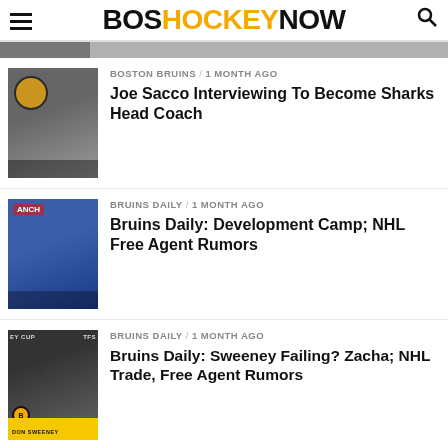BOSHOCKEYNOW
[Figure (photo): Partial thumbnail image at top, cropped]
BOSTON BRUINS / 1 month ago
Joe Sacco Interviewing To Become Sharks Head Coach
[Figure (photo): Photo of Joe Sacco at press conference with Boston Bruins logo]
BRUINS DAILY / 1 month ago
Bruins Daily: Development Camp; NHL Free Agent Rumors
[Figure (photo): Photo of Colorado Avalanche hockey players]
BRUINS DAILY / 1 month ago
Bruins Daily: Sweeney Failing? Zacha; NHL Trade, Free Agent Rumors
[Figure (photo): Photo of Don Sweeney with NHL Cup Final backdrop, caption DON SWEENEY]
[Figure (photo): Large photo of a hockey player, bottom of page]